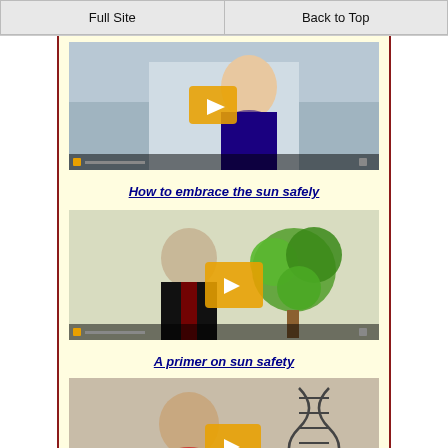Full Site | Back to Top
[Figure (screenshot): Video thumbnail showing a woman in a blue dress at a podium with a play button overlay]
How to embrace the sun safely
[Figure (screenshot): Video thumbnail showing a woman next to a green tree graphic with a play button overlay]
A primer on sun safety
[Figure (screenshot): Video thumbnail showing a woman next to a DNA double helix graphic with a play button overlay]